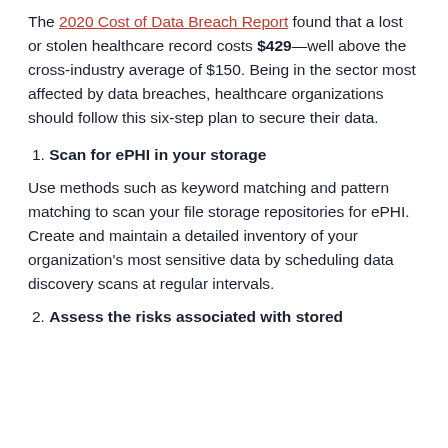The 2020 Cost of Data Breach Report found that a lost or stolen healthcare record costs $429—well above the cross-industry average of $150. Being in the sector most affected by data breaches, healthcare organizations should follow this six-step plan to secure their data.
1. Scan for ePHI in your storage
Use methods such as keyword matching and pattern matching to scan your file storage repositories for ePHI. Create and maintain a detailed inventory of your organization's most sensitive data by scheduling data discovery scans at regular intervals.
2. Assess the risks associated with stored